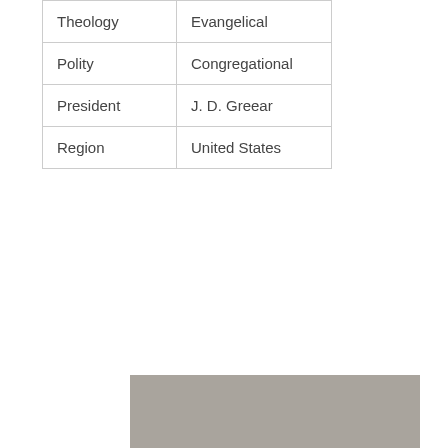| Theology | Evangelical |
| Polity | Congregational |
| President | J. D. Greear |
| Region | United States |
[Figure (photo): A grey/taupe colored image with a 'Catholics' label and a comment icon showing '0' in the lower portion]
Why did the Catholic Church ban cremation?
Catholics do not favor cremation because they believe in resurrection of the body after